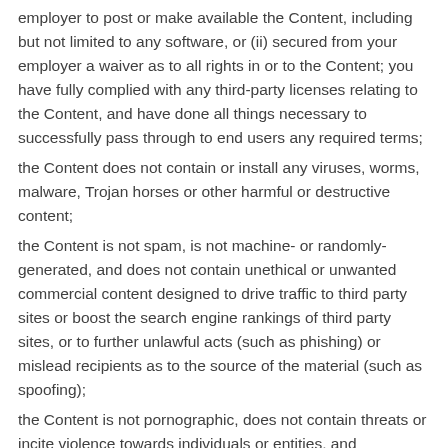employer to post or make available the Content, including but not limited to any software, or (ii) secured from your employer a waiver as to all rights in or to the Content; you have fully complied with any third-party licenses relating to the Content, and have done all things necessary to successfully pass through to end users any required terms;
the Content does not contain or install any viruses, worms, malware, Trojan horses or other harmful or destructive content;
the Content is not spam, is not machine- or randomly-generated, and does not contain unethical or unwanted commercial content designed to drive traffic to third party sites or boost the search engine rankings of third party sites, or to further unlawful acts (such as phishing) or mislead recipients as to the source of the material (such as spoofing);
the Content is not pornographic, does not contain threats or incite violence towards individuals or entities, and